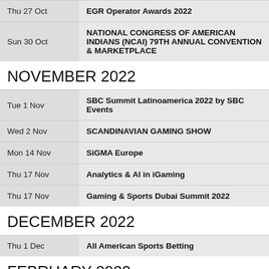| Date | Event |
| --- | --- |
| Thu 27 Oct | EGR Operator Awards 2022 |
| Sun 30 Oct | NATIONAL CONGRESS OF AMERICAN INDIANS (NCAI) 79TH ANNUAL CONVENTION & MARKETPLACE |
NOVEMBER 2022
| Date | Event |
| --- | --- |
| Tue 1 Nov | SBC Summit Latinoamerica 2022 by SBC Events |
| Wed 2 Nov | SCANDINAVIAN GAMING SHOW |
| Mon 14 Nov | SiGMA Europe |
| Thu 17 Nov | Analytics & AI in iGaming |
| Thu 17 Nov | Gaming & Sports Dubai Summit 2022 |
DECEMBER 2022
| Date | Event |
| --- | --- |
| Thu 1 Dec | All American Sports Betting |
FEBRUARY 2023